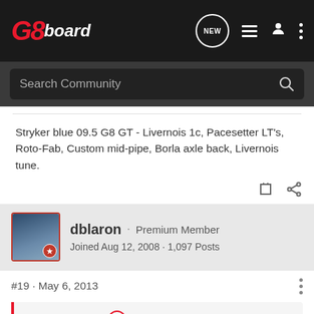G8board - Search Community
Stryker blue 09.5 G8 GT - Livernois 1c, Pacesetter LT's, Roto-Fab, Custom mid-pipe, Borla axle back, Livernois tune.
dblaron · Premium Member
Joined Aug 12, 2008 · 1,097 Posts
#19 · May 6, 2013
Jesse98gt said:
Question to those with cams/custom tunes, when coming to a stop how noticeable is your down shifts. I feel sometimes it jumps pretty hard around 7 mph. Sometimes I barely notice it other times it jerks